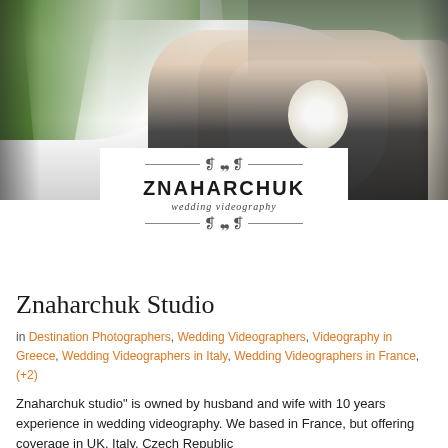[Figure (photo): Wedding photo of bride and groom sitting in a white horse-drawn carriage. The bride wears a white dress with a long flowing veil. The groom wears a dark suit. There are trees and greenery in the background.]
[Figure (logo): Znaharchuk wedding videography logo with ornamental scroll decorations above and below the text. Text reads ZNAHARCHUK in bold uppercase with 'wedding videography' in italic below.]
Znaharchuk Studio
in Destination Photographers, Wedding Videographers, Videography in Greece, Wedding Videographers in Italy, Wedding Videographers in France, (+2)
Znaharchuk studio" is owned by husband and wife with 10 years experience in wedding videography. We based in France, but offering coverage in UK, Italy, Czech Republic